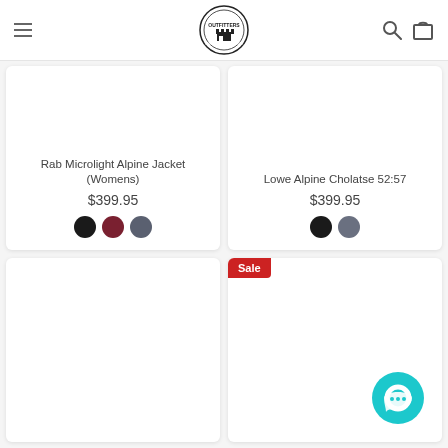Outfitters logo with navigation menu and search/cart icons
[Figure (photo): Product card for Rab Microlight Alpine Jacket (Womens) showing color swatches]
Rab Microlight Alpine Jacket (Womens)
$399.95
[Figure (photo): Product card for Lowe Alpine Cholatse 52:57 showing color swatches]
Lowe Alpine Cholatse 52:57
$399.95
[Figure (photo): Empty product card (bottom left)]
[Figure (photo): Product card with Sale badge (bottom right)]